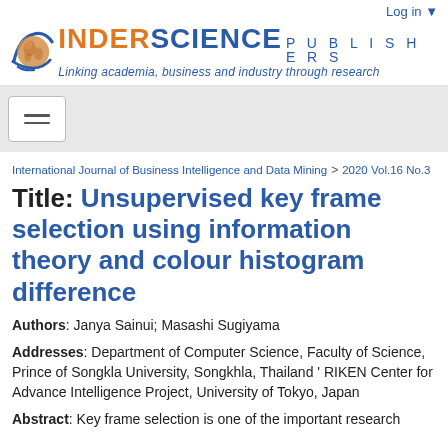[Figure (logo): Inderscience Publishers logo with globe icon, orange INDER, blue SCIENCE PUBLISHERS text, and tagline 'Linking academia, business and industry through research']
Log in
International Journal of Business Intelligence and Data Mining  >  2020 Vol.16 No.3
Title: Unsupervised key frame selection using information theory and colour histogram difference
Authors: Janya Sainui; Masashi Sugiyama
Addresses: Department of Computer Science, Faculty of Science, Prince of Songkla University, Songkhla, Thailand ' RIKEN Center for Advance Intelligence Project, University of Tokyo, Japan
Abstract: Key frame selection is one of the important research